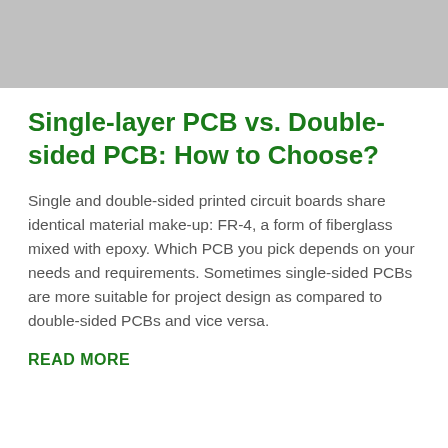[Figure (photo): Gray placeholder image at the top of the article]
Single-layer PCB vs. Double-sided PCB: How to Choose?
Single and double-sided printed circuit boards share identical material make-up: FR-4, a form of fiberglass mixed with epoxy. Which PCB you pick depends on your needs and requirements. Sometimes single-sided PCBs are more suitable for project design as compared to double-sided PCBs and vice versa.
READ MORE